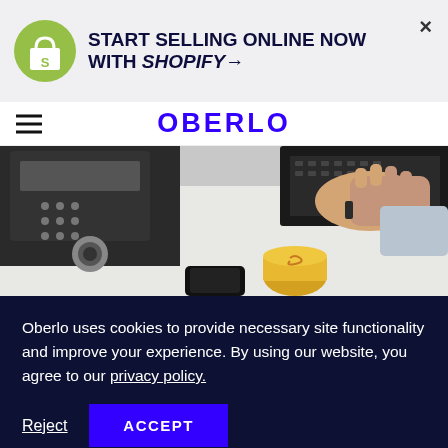[Figure (infographic): Shopify promotional banner with green Shopify bag logo on left, bold text 'START SELLING ONLINE NOW WITH SHOPIFY→' and X close button on right, light gray background]
OBERLO
[Figure (photo): Overhead desk photo showing hands on laptop keyboard, telephone, coffee cup with latte art, and smartphone on white desk]
Oberlo uses cookies to provide necessary site functionality and improve your experience. By using our website, you agree to our privacy policy.
Reject   ACCEPT